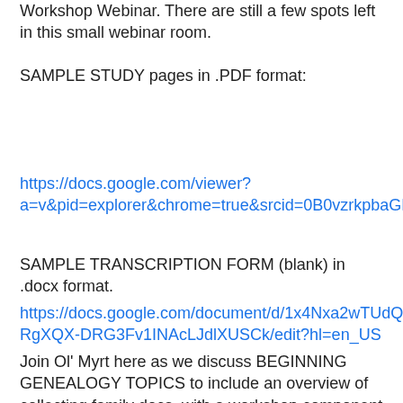Workshop Webinar. There are still a few spots left in this small webinar room.
SAMPLE STUDY pages in .PDF format:
https://docs.google.com/viewer?a=v&pid=explorer&chrome=true&srcid=0B0vzrkpbaGH0ZTNkZDEyZDltMmU5Ny00ZWU3LWE2MDUtOTJkOGFlMGI5OTNi&hl=en_US
SAMPLE TRANSCRIPTION FORM (blank) in .docx format.
https://docs.google.com/document/d/1x4Nxa2wTUdQoviH2-RgXQX-DRG3Fv1INAcLJdlXUSCk/edit?hl=en_US
Join Ol' Myrt here as we discuss BEGINNING GENEALOGY TOPICS to include an overview of collecting family docs, with a workshop component to analyze info in a birth and in